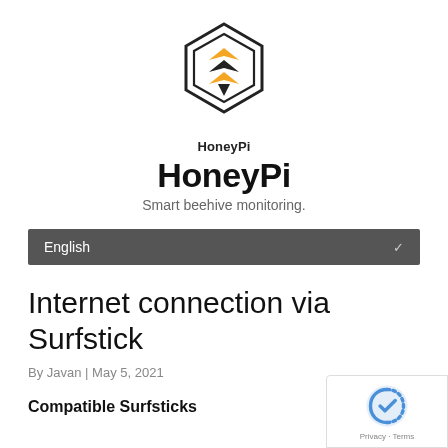[Figure (logo): HoneyPi hexagonal bee logo in black outline with gold/orange chevron bee body]
HoneyPi
Smart beehive monitoring.
English
Internet connection via Surfstick
By Javan | May 5, 2021
Compatible Surfsticks
[Figure (logo): Google reCAPTCHA badge with Privacy and Terms links]